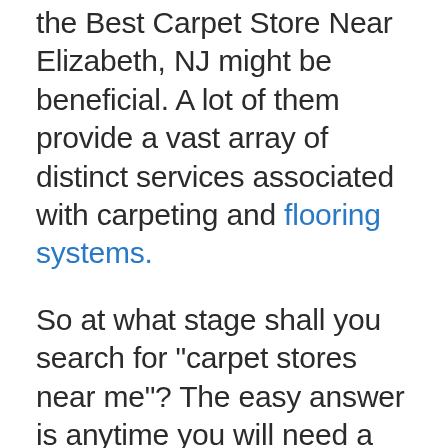the Best Carpet Store Near Elizabeth, NJ might be beneficial. A lot of them provide a vast array of distinct services associated with carpeting and flooring systems.
So at what stage shall you search for "carpet stores near me"? The easy answer is anytime you will need a service done that is associated with a carpeting. This may involve removing, replacing, installing, or cleaning your carpet. Following is a closer look at a few of those offerings and what they may comprise.